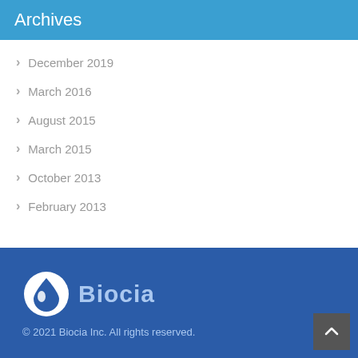Archives
December 2019
March 2016
August 2015
March 2015
October 2013
February 2013
© 2021 Biocia Inc. All rights reserved.